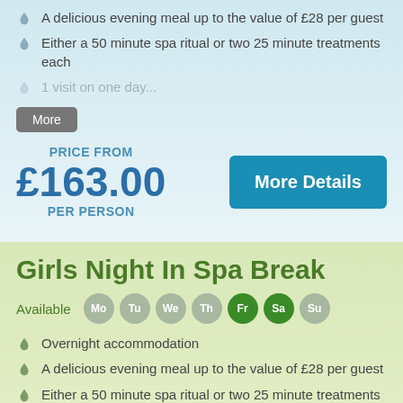A delicious evening meal up to the value of £28 per guest
Either a 50 minute spa ritual or two 25 minute treatments each
More
PRICE FROM £163.00 PER PERSON
More Details
Girls Night In Spa Break
Available Mo Tu We Th Fr Sa Su
Overnight accommodation
A delicious evening meal up to the value of £28 per guest
Either a 50 minute spa ritual or two 25 minute treatments each
More
PRICE FROM